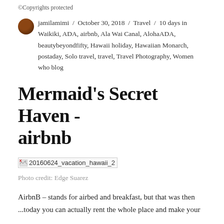©Copyrights protected
jamilamimi / October 30, 2018 / Travel / 10 days in Waikiki, ADA, airbnb, Ala Wai Canal, AlohaADA, beautybeyondfifty, Hawaii holiday, Hawaiian Monarch, postaday, Solo travel, travel, Travel Photography, Women who blog
Mermaid's Secret Haven - airbnb
[Figure (photo): Broken image placeholder with filename 20160624_vacation_hawaii_2]
Photo credit: Edge Suarez
AirbnB – stands for airbed and breakfast, but that was then ...today you can actually rent the whole place and make your